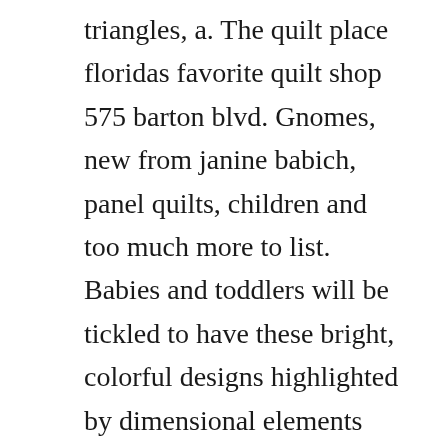triangles, a. The quilt place floridas favorite quilt shop 575 barton blvd. Gnomes, new from janine babich, panel quilts, children and too much more to list. Babies and toddlers will be tickled to have these bright, colorful designs highlighted by dimensional elements for little fingers to explore. Digital download of this ebook is offered in a pdf format and is best viewed in adobe acrobat reader. We offer a selection of books to help with your quilting efforts.
A plethora of free book downloads await